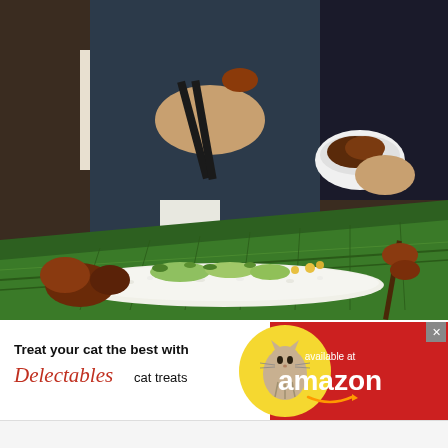[Figure (photo): A food spread served on banana leaves at a restaurant table. Two people in dark aprons are visible from the torso down, one holding chopsticks and the other holding a white bowl with grilled meat. On the banana leaf below is a long spread of white rice, various grilled meats on skewers, bean sprouts, herbs, and other Filipino-style dishes arranged in a row.]
[Figure (infographic): Advertisement banner for Delectables cat treats available at Amazon. Left side on white background shows text 'Treat your cat the best with Delectables cat treats' with a circular yellow graphic containing a cat photo. Right side is red background with 'available at amazon' text and Amazon logo with smile arrow.]